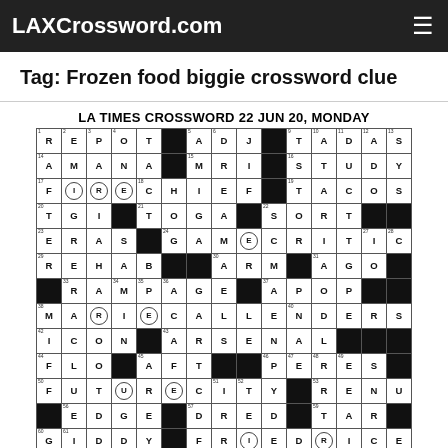LAXCrossword.com
Tag: Frozen food biggie crossword clue
LA TIMES CROSSWORD 22 JUN 20, MONDAY
[Figure (other): LA Times crossword puzzle grid for June 22, 2020, Monday. The grid contains answers including REPOT, ADJ, TADAS, AMANA, MRI, STUDY, FIRECHIEF, TACOS, TGI, TOGA, SORT, ERAS, GAMECRITIC, REHAB, ARM, AGO, RAMPAGE, APOP, MARIECALLENDERS, ICON, ARSENAL, FLO, AFT, PERES, FUTURECITY, RENU, EDGE, DRED, TAR, GIDDY, FRIEDRICE]